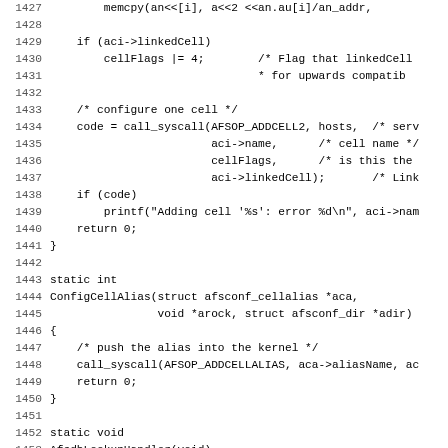[Figure (other): Source code listing in C, lines 1427-1459, showing functions for configuring AFS cells and cell aliases, including ConfigCellAlias and AfsdbLookupHandler functions.]